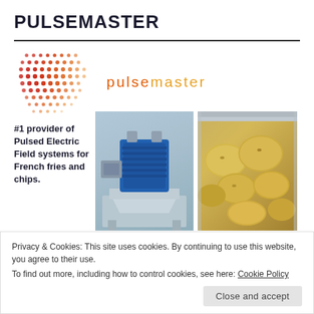PULSEMASTER
[Figure (logo): Pulsemaster logo with dot pattern gradient (orange to red dots) on the left and the word 'pulsemaster' in orange/amber text on the right]
#1 provider of Pulsed Electric Field systems for French fries and chips.
[Figure (photo): Industrial PEF (Pulsed Electric Field) machine with blue motor/transformer unit on a stainless steel frame]
[Figure (photo): Close-up photo of yellow potatoes in a stainless steel conveyor/container]
Privacy & Cookies: This site uses cookies. By continuing to use this website, you agree to their use.
To find out more, including how to control cookies, see here: Cookie Policy